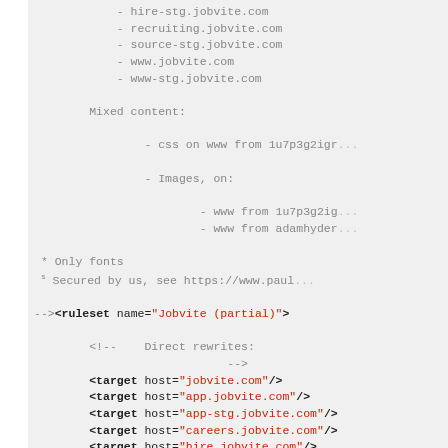- hire-stg.jobvite.com
- recruiting.jobvite.com
- source-stg.jobvite.com
- www.jobvite.com
- www-stg.jobvite.com
Mixed content:
- css on www from 1u7p3g2igr...
- Images, on:
- www from 1u7p3g2ig...
- www from adamhyder...
* Only fonts
s Secured by us, see https://www.paul...
--><ruleset name="Jobvite (partial)">
<!--    Direct rewrites:
                            -->
<target host="jobvite.com"/>
<target host="app.jobvite.com"/>
<target host="app-stg.jobvite.com"/>
<target host="careers.jobvite.com"/>
<target host="hire.jobvite.com"/>
<target host="hire-stg.jobvite.com"/>
<target host="jobs.jobvite.com"/>